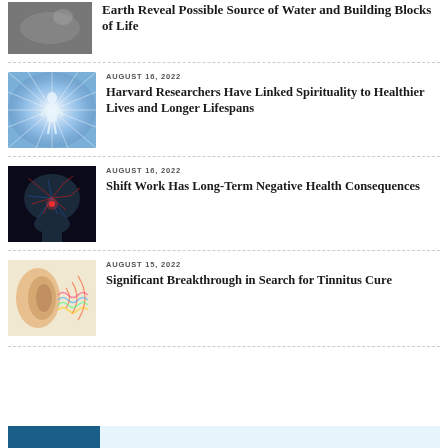[Figure (photo): Partial view of a black and white space/science image cropped at top]
Earth Reveal Possible Source of Water and Building Blocks of Life
[Figure (photo): Glowing human silhouette figure with light rays radiating outward on blue background]
AUGUST 16, 2022
Harvard Researchers Have Linked Spirituality to Healthier Lives and Longer Lifespans
[Figure (photo): Medical illustration of human head with brain and neural/vascular network highlighted in red and blue]
AUGUST 16, 2022
Shift Work Has Long-Term Negative Health Consequences
[Figure (photo): Close-up of human ear with colorful sound wave visualizations overlaid]
AUGUST 15, 2022
Significant Breakthrough in Search for Tinnitus Cure